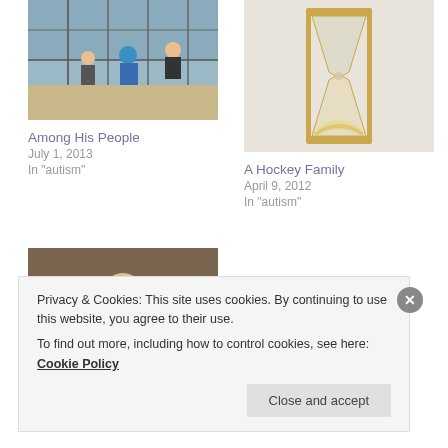[Figure (photo): Children playing at a playground with netting/fence structure]
Among His People
July 1, 2013
In "autism"
[Figure (photo): An hourglass with gold frame and white/cream sand]
A Hockey Family
April 9, 2012
In "autism"
[Figure (photo): Child playing with small figures/toys in a white tray on a wooden surface]
Privacy & Cookies: This site uses cookies. By continuing to use this website, you agree to their use.
To find out more, including how to control cookies, see here: Cookie Policy
Close and accept